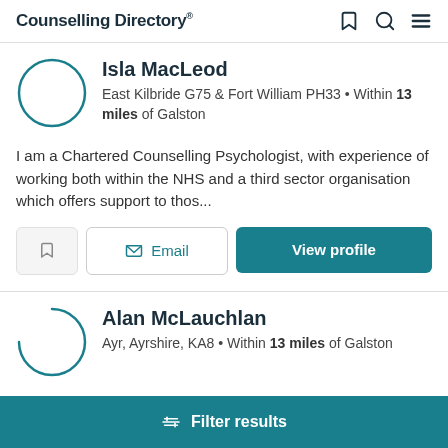Counselling Directory
Isla MacLeod
East Kilbride G75 & Fort William PH33 • Within 13 miles of Galston
I am a Chartered Counselling Psychologist, with experience of working both within the NHS and a third sector organisation which offers support to thos...
Alan McLauchlan
Ayr, Ayrshire, KA8 • Within 13 miles of Galston
Filter results